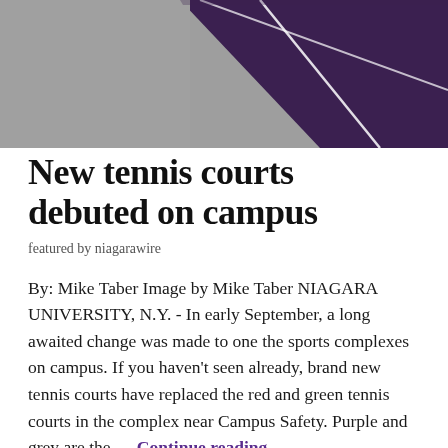[Figure (photo): Aerial or close-up view of purple and grey tennis courts on campus, showing court lines in white against a purple surface with grey surroundings.]
New tennis courts debuted on campus
featured by niagarawire
By: Mike Taber Image by Mike Taber NIAGARA UNIVERSITY, N.Y. - In early September, a long awaited change was made to one the sports complexes on campus. If you haven't seen already, brand new tennis courts have replaced the red and green tennis courts in the complex near Campus Safety. Purple and grey are the … Continue reading